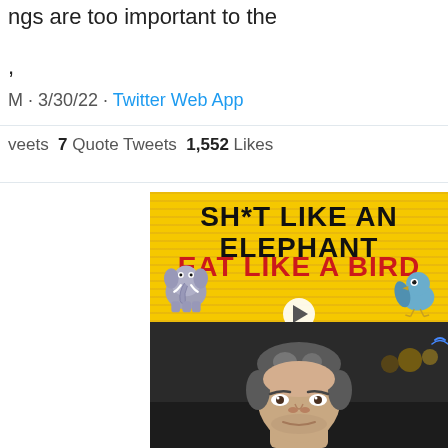ngs are too important to the
,
M · 3/30/22 · Twitter Web App
veets  7 Quote Tweets  1,552 Likes
[Figure (screenshot): Screenshot of a Twitter post showing two embedded media items: (1) a yellow sign reading 'SH*T LIKE AN ELEPHANT / EAT LIKE A BIRD' with cartoon elephant and bird, and (2) a video thumbnail showing a man's face]